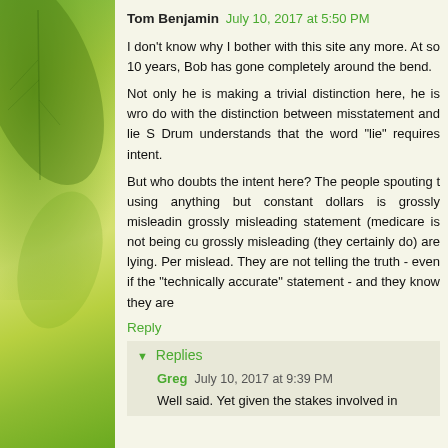Tom Benjamin  July 10, 2017 at 5:50 PM
I don't know why I bother with this site any more. At so 10 years, Bob has gone completely around the bend.
Not only he is making a trivial distinction here, he is wro do with the distinction between misstatement and lie S Drum understands that the word "lie" requires intent.
But who doubts the intent here? The people spouting t using anything but constant dollars is grossly misleadin grossly misleading statement (medicare is not being cu grossly misleading (they certainly do) are lying. Per mislead. They are not telling the truth - even if the "technically accurate" statement - and they know they are
Reply
Replies
Greg  July 10, 2017 at 9:39 PM
Well said. Yet given the stakes involved in